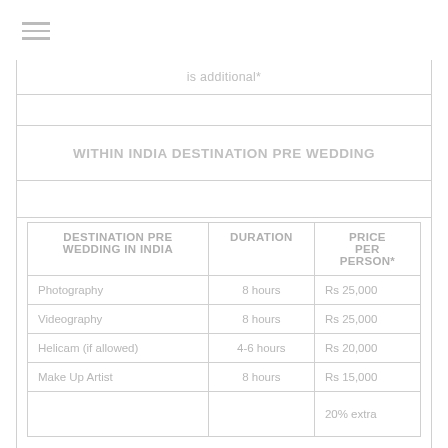is additional*
WITHIN INDIA DESTINATION PRE WEDDING
| DESTINATION PRE WEDDING IN INDIA | DURATION | PRICE PER PERSON* |
| --- | --- | --- |
| Photography | 8 hours | Rs 25,000 |
| Videography | 8 hours | Rs 25,000 |
| Helicam (if allowed) | 4-6 hours | Rs 20,000 |
| Make Up Artist | 8 hours | Rs 15,000 |
|  |  | 20% extra |